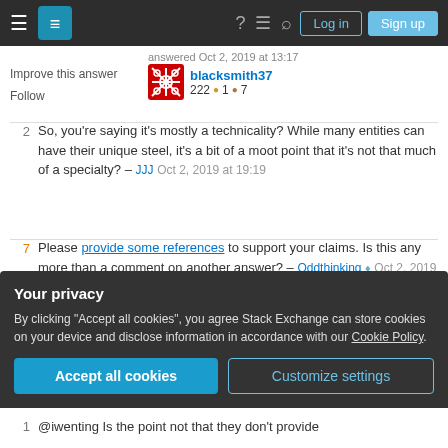Stack Exchange navigation bar with hamburger menu, logo, help, chat, search icons, and Log in / Sign up buttons
answered Oct 2, 2019 at 13:17
Improve this answer
Follow
blacksmith37  222 ●1 ●7
2  So, you're saying it's mostly a technicality? While many entities can have their unique steel, it's a bit of a moot point that it's not that much of a specialty? – JJJ Oct 2, 2019 at 19:19
7  Please provide some references to support your claims. Is this any more than a comment on another answer? – Oddthinking ♦ Oct 2, 2019 at 20:46
4  They don't claim it's "the best", as such a thing does
Your privacy
By clicking "Accept all cookies", you agree Stack Exchange can store cookies on your device and disclose information in accordance with our Cookie Policy.
Accept all cookies   Customize settings
1  @iwenting Is the point not that they don't provide